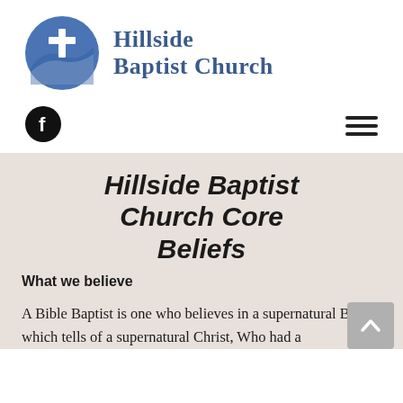[Figure (logo): Hillside Baptist Church logo: blue circle with white cross and hill/wave motif, next to the church name in blue serif text]
[Figure (logo): Facebook icon: black circle with white lowercase f]
[Figure (other): Hamburger menu icon: three horizontal black lines]
Hillside Baptist Church Core Beliefs
What we believe
A Bible Baptist is one who believes in a supernatural Bible, which tells of a supernatural Christ, Who had a